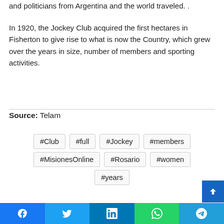and politicians from Argentina and the world traveled. .
In 1920, the Jockey Club acquired the first hectares in Fisherton to give rise to what is now the Country, which grew over the years in size, number of members and sporting activities.
Source: Telam
#Club
#full
#Jockey
#members
#MisionesOnline
#Rosario
#women
#years